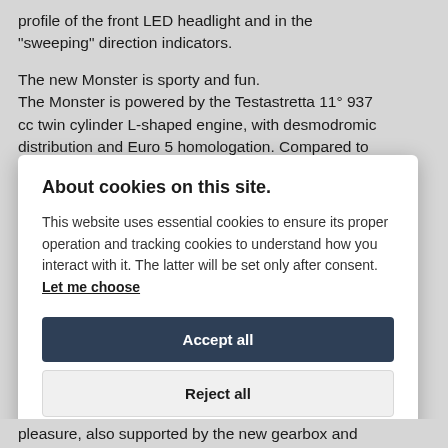profile of the front LED headlight and in the "sweeping" direction indicators.

The new Monster is sporty and fun. The Monster is powered by the Testastretta 11° 937 cc twin cylinder L-shaped engine, with desmodromic distribution and Euro 5 homologation. Compared to
About cookies on this site.
This website uses essential cookies to ensure its proper operation and tracking cookies to understand how you interact with it. The latter will be set only after consent. Let me choose
Accept all
Reject all
pleasure, also supported by the new gearbox and